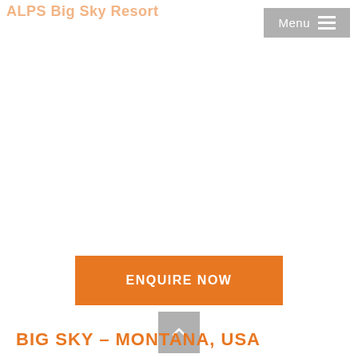ALPS Big Sky Resort
Menu
ENQUIRE NOW
BIG SKY – MONTANA, USA